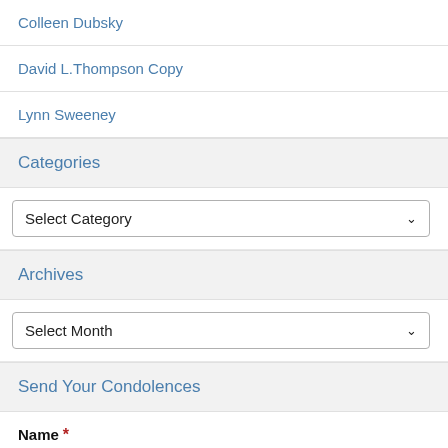Colleen Dubsky
David L.Thompson Copy
Lynn Sweeney
Categories
Select Category
Archives
Select Month
Send Your Condolences
Name *